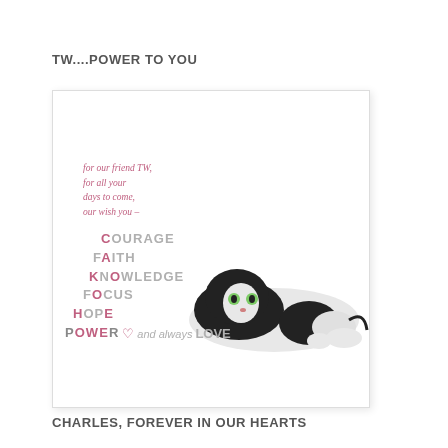TW....POWER TO YOU
[Figure (illustration): A greeting card with a black and white cat lying down. The card contains inspirational words: for our friend TW, for all your days to come, our wish you – COURAGE, FAITH, KNOWLEDGE, FOCUS, HOPE, POWER and always LOVE, with a heart symbol.]
CHARLES, FOREVER IN OUR HEARTS